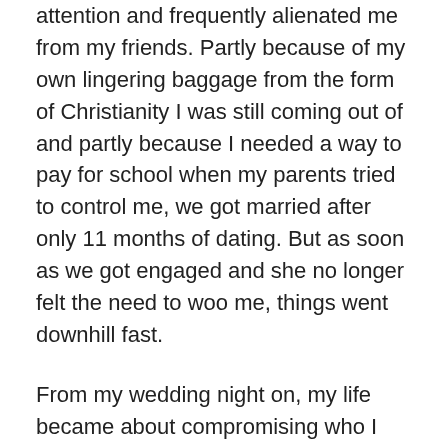attention and frequently alienated me from my friends. Partly because of my own lingering baggage from the form of Christianity I was still coming out of and partly because I needed a way to pay for school when my parents tried to control me, we got married after only 11 months of dating. But as soon as we got engaged and she no longer felt the need to woo me, things went downhill fast.
From my wedding night on, my life became about compromising who I was to make her happy. I no longer had any energy to figure out my gender and sexuality because I was fighting just to keep my head above water and try to figure out what was wrong with me and my marriage. I spent 6 more years like that, struggling with crippling anxiety and depression as the abuse continued and my mental health was shamed. She loved taking